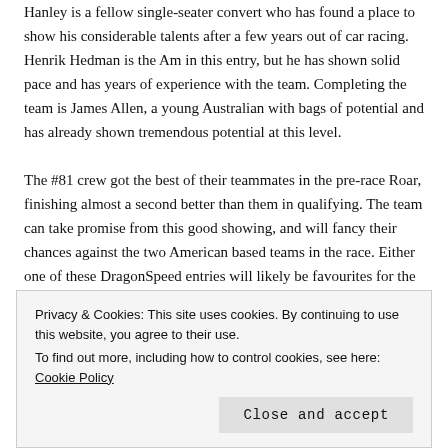Hanley is a fellow single-seater convert who has found a place to show his considerable talents after a few years out of car racing. Henrik Hedman is the Am in this entry, but he has shown solid pace and has years of experience with the team. Completing the team is James Allen, a young Australian with bags of potential and has already shown tremendous potential at this level.
The #81 crew got the best of their teammates in the pre-race Roar, finishing almost a second better than them in qualifying. The team can take promise from this good showing, and will fancy their chances against the two American based teams in the race. Either one of these DragonSpeed entries will likely be favourites for the race, barring any accidents or mechanical issues during the 24 hours.
Privacy & Cookies: This site uses cookies. By continuing to use this website, you agree to their use. To find out more, including how to control cookies, see here: Cookie Policy
Close and accept